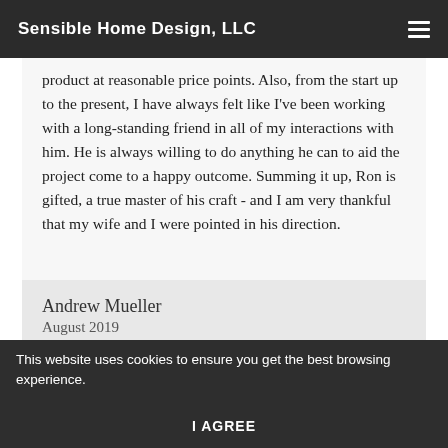Sensible Home Design, LLC
product at reasonable price points. Also, from the start up to the present, I have always felt like I've been working with a long-standing friend in all of my interactions with him. He is always willing to do anything he can to aid the project come to a happy outcome. Summing it up, Ron is gifted, a true master of his craft - and I am very thankful that my wife and I were pointed in his direction.
Andrew Mueller
August 2019
This website uses cookies to ensure you get the best browsing experience.
I AGREE